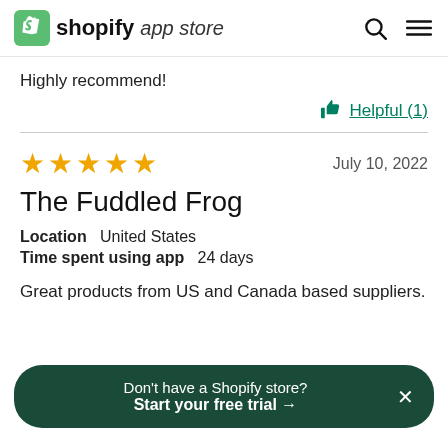shopify app store
Highly recommend!
Helpful (1)
★★★★★  July 10, 2022
The Fuddled Frog
Location  United States
Time spent using app  24 days
Great products from US and Canada based suppliers.
Don't have a Shopify store? Start your free trial →